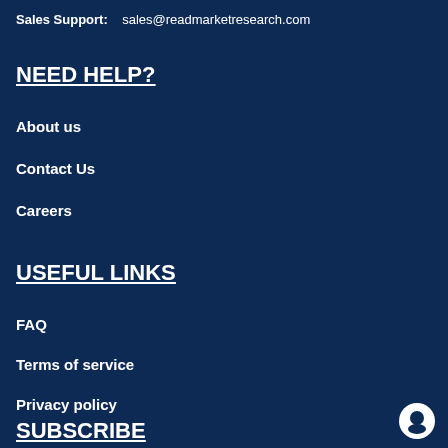Sales Support:    sales@readmarketresearch.com
NEED HELP?
About us
Contact Us
Careers
USEFUL LINKS
FAQ
Terms of service
Privacy policy
SUBSCRIBE
[Figure (illustration): Chat/help circle icon in white]